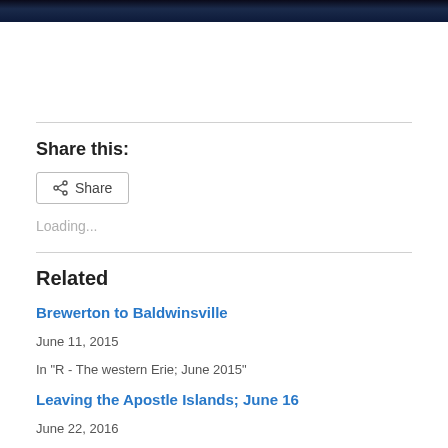[Figure (photo): Dark nighttime photograph strip at the top of the page, showing a dimly lit scene with dark blue/navy tones]
Share this:
Share (button)
Loading...
Related
Brewerton to Baldwinsville
June 11, 2015
In "R - The western Erie; June 2015"
Leaving the Apostle Islands; June 16
June 22, 2016